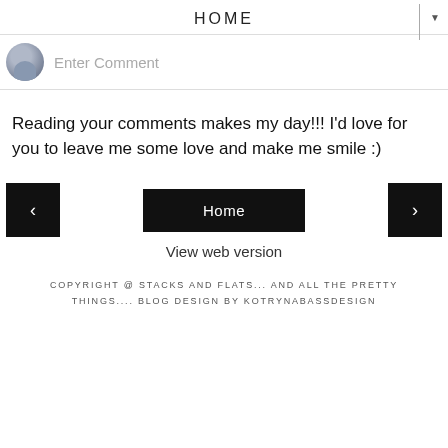HOME
Enter Comment
Reading your comments makes my day!!! I'd love for you to leave me some love and make me smile :)
[Figure (screenshot): Navigation bar with left arrow button, Home button (black), and right arrow button]
View web version
COPYRIGHT @ STACKS AND FLATS... AND ALL THE PRETTY THINGS.... BLOG DESIGN BY KOTRYNABASSDESIGN